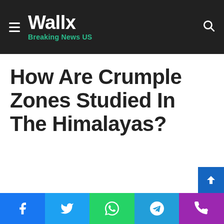Wallx Breaking News US
How Are Crumple Zones Studied In The Himalayas?